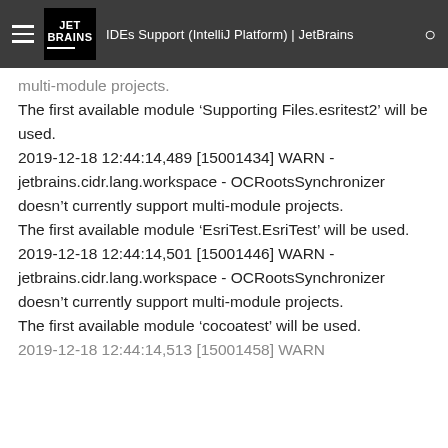IDEs Support (IntelliJ Platform) | JetBrains
multi-module projects.
The first available module ‘Supporting Files.esritest2’ will be used.
2019-12-18 12:44:14,489 [15001434] WARN - jetbrains.cidr.lang.workspace - OCRootsSynchronizer doesn’t currently support multi-module projects.
The first available module ‘EsriTest.EsriTest’ will be used.
2019-12-18 12:44:14,501 [15001446] WARN - jetbrains.cidr.lang.workspace - OCRootsSynchronizer doesn’t currently support multi-module projects.
The first available module ‘cocoatest’ will be used.
2019-12-18 12:44:14,513 [15001458] WARN